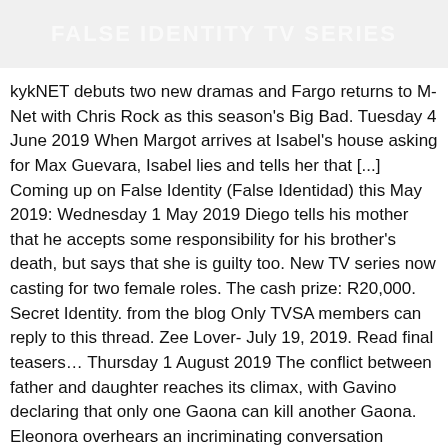FALSE IDENTITY TV SERIES
kykNET debuts two new dramas and Fargo returns to M-Net with Chris Rock as this season's Big Bad. Tuesday 4 June 2019 When Margot arrives at Isabel's house asking for Max Guevara, Isabel lies and tells her that [...] Coming up on False Identity (False Identidad) this May 2019: Wednesday 1 May 2019 Diego tells his mother that he accepts some responsibility for his brother's death, but says that she is guilty too. New TV series now casting for two female roles. The cash prize: R20,000. Secret Identity. from the blog Only TVSA members can reply to this thread. Zee Lover- July 19, 2019. Read final teasers… Thursday 1 August 2019 The conflict between father and daughter reaches its climax, with Gavino declaring that only one Gaona can kill another Gaona. Eleonora overhears an incriminating conversation between Lucho and Romelia.